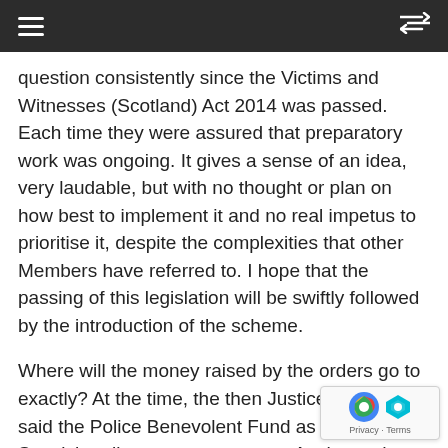≡  ⇌
question consistently since the Victims and Witnesses (Scotland) Act 2014 was passed. Each time they were assured that preparatory work was ongoing. It gives a sense of an idea, very laudable, but with no thought or plan on how best to implement it and no real impetus to prioritise it, despite the complexities that other Members have referred to. I hope that the passing of this legislation will be swiftly followed by the introduction of the scheme.
Where will the money raised by the orders go to exactly? At the time, the then Justice Secretary said the Police Benevolent Fund as well as the Scottish police treatment centre, Auchterarder, which has previously benefited members of my own family—yes, I did contribute to it myself financially—were